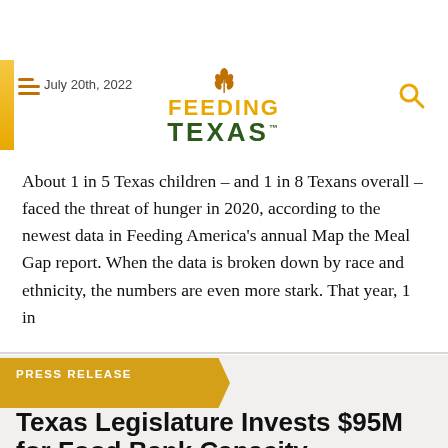Color Even Harder
July 20th, 2022 | FEEDING TEXAS™
About 1 in 5 Texas children – and 1 in 8 Texans overall – faced the threat of hunger in 2020, according to the newest data in Feeding America's annual Map the Meal Gap report. When the data is broken down by race and ethnicity, the numbers are even more stark. That year, 1 in
PRESS RELEASE
Texas Legislature Invests $95M for Food Bank Capacity